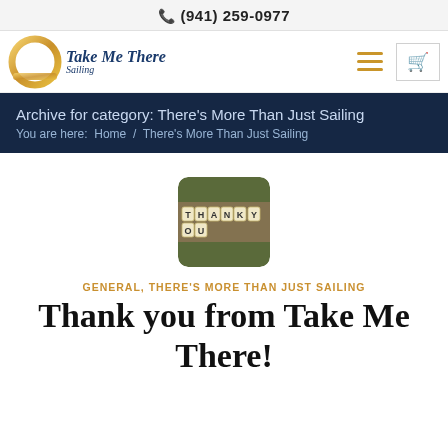(941) 259-0977
[Figure (logo): Take Me There Sailing logo with gold circular design and italic blue text]
Archive for category: There's More Than Just Sailing
You are here:  Home  /  There's More Than Just Sailing
[Figure (photo): Photo of wooden letter tiles spelling THANK YOU on a blurred green background]
GENERAL, THERE'S MORE THAN JUST SAILING
Thank you from Take Me There!